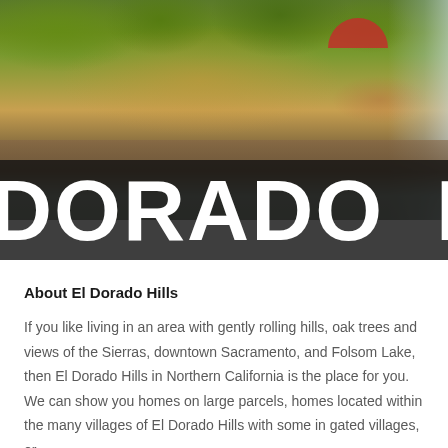[Figure (photo): Outdoor shopping/town center scene with trees, warm evening lighting, stone walls, red umbrella, people sitting, and a fountain spray on the right edge]
DORADO HI
About El Dorado Hills
If you like living in an area with gently rolling hills, oak trees and views of the Sierras, downtown Sacramento, and Folsom Lake, then El Dorado Hills in Northern California is the place for you.  We can show you homes on large parcels, homes located within the many villages of El Dorado Hills with some in gated villages, or